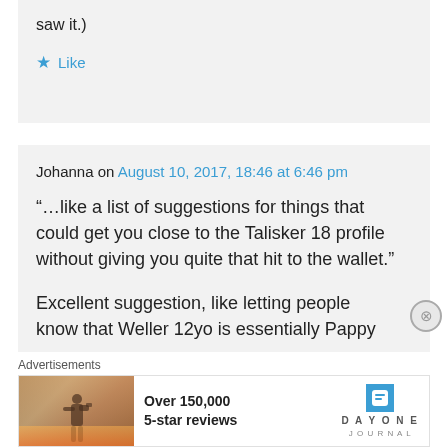saw it.)
★ Like
Johanna on August 10, 2017, 18:46 at 6:46 pm
“…like a list of suggestions for things that could get you close to the Talisker 18 profile without giving you quite that hit to the wallet.”
Excellent suggestion, like letting people know that Weller 12yo is essentially Pappy
Advertisements
[Figure (photo): Advertisement for Day One Journal app showing a person photographing a sunset, with text 'Over 150,000 5-star reviews' and Day One Journal logo]